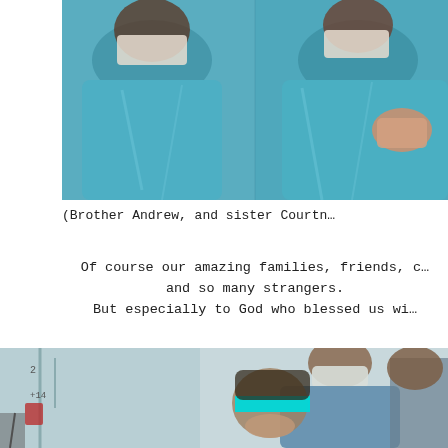[Figure (photo): Two people wearing blue medical/protective gowns and face masks, close-up photograph. Identified as Brother Andrew and sister Courtney.]
(Brother Andrew, and sister Courtn…
Of course our amazing families, friends, c…
and so many strangers.
But especially to God who blessed us wi…
[Figure (photo): Medical/clinical setting photo showing people in masks and medical attire, with one person's eyes blurred out with a cyan/teal redaction bar.]